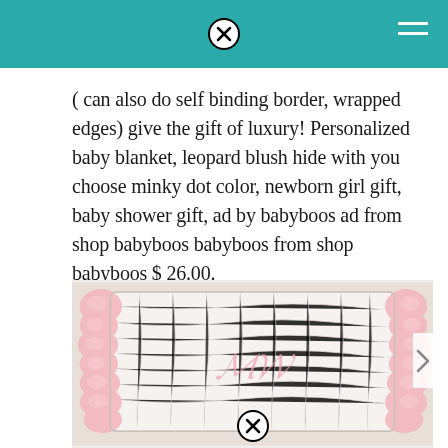( can also do self binding border, wrapped edges) give the gift of luxury! Personalized baby blanket, leopard blush hide with you choose minky dot color, newborn girl gift, baby shower gift, ad by babyboos ad from shop babyboos babyboos from shop babyboos $ 26.00.
[Figure (photo): White quilted personalized baby blanket with pink satin ruffle trim on edges and a pink monogram embroidered in the center, displayed flat on a light surface.]